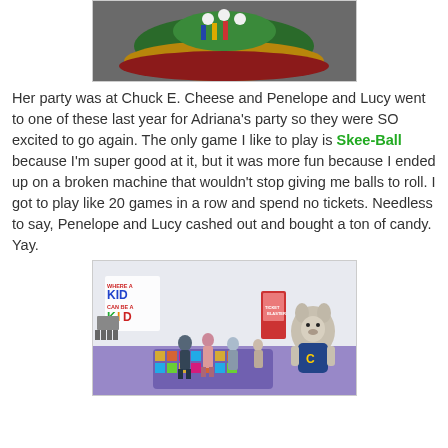[Figure (photo): Top portion of a Chuck E. Cheese themed cake or decoration with green top surface and colorful border, showing bowling pins or similar figures on top]
Her party was at Chuck E. Cheese and Penelope and Lucy went to one of these last year for Adriana's party so they were SO excited to go again. The only game I like to play is Skee-Ball because I'm super good at it, but it was more fun because I ended up on a broken machine that wouldn't stop giving me balls to roll. I got to play like 20 games in a row and spend no tickets. Needless to say, Penelope and Lucy cashed out and bought a ton of candy. Yay.
[Figure (photo): Interior of Chuck E. Cheese restaurant showing children dancing/playing on a light-up floor mat, the Chuck E. Cheese mouse mascot character on the right, a 'Where a Kid Can Be a Kid' sign on the wall, tables and chairs in the background]